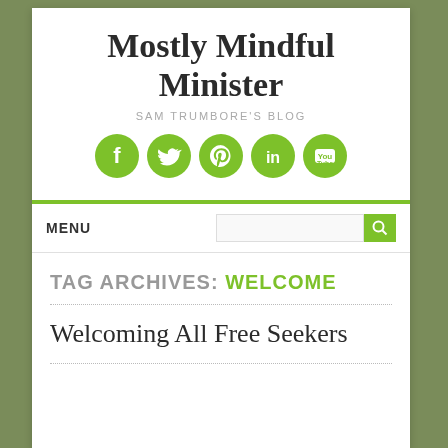Mostly Mindful Minister
SAM TRUMBORE'S BLOG
[Figure (illustration): Five green circular social media icons: Facebook, Twitter, Pinterest, LinkedIn, YouTube]
MENU
TAG ARCHIVES: WELCOME
Welcoming All Free Seekers